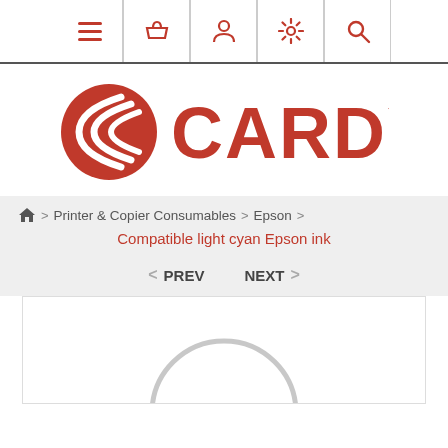Navigation bar with menu, basket, account, settings, search icons
[Figure (logo): Cardy logo: red circular emblem with white curved lines on left, red bold text CARDY on right]
Home > Printer & Copier Consumables > Epson >
Compatible light cyan Epson ink
< PREV   NEXT >
[Figure (photo): Product image placeholder showing a grey circular icon]